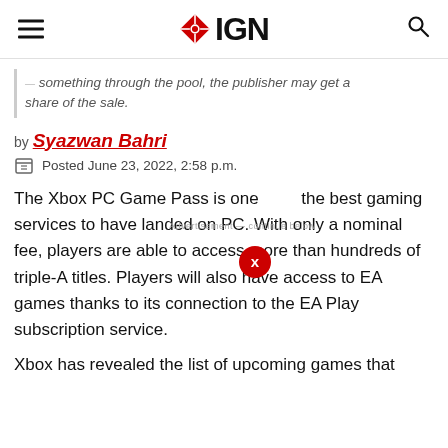IGN
something through the pool, the publisher may get a share of the sale.
by Syazwan Bahri
Posted June 23, 2022, 2:58 p.m.
The Xbox PC Game Pass is one of the best gaming services to have landed on PC. With only a nominal fee, players are able to access more than hundreds of triple-A titles. Players will also have access to EA games thanks to its connection to the EA Play subscription service.
Xbox has revealed the list of upcoming games that will be landing on...